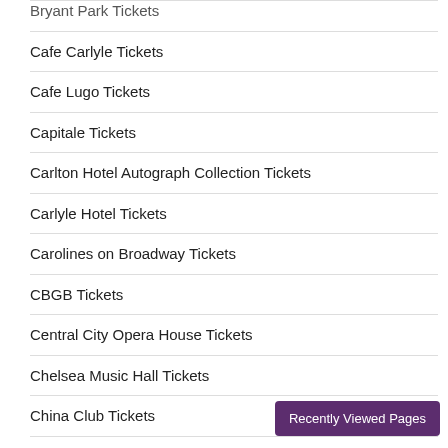Bryant Park Tickets
Cafe Carlyle Tickets
Cafe Lugo Tickets
Capitale Tickets
Carlton Hotel Autograph Collection Tickets
Carlyle Hotel Tickets
Carolines on Broadway Tickets
CBGB Tickets
Central City Opera House Tickets
Chelsea Music Hall Tickets
China Club Tickets
Chinese Tuxedo Tickets
Church Of Saint Mary The Virgin Tickets
Church of Saint Paul the Apostle Tickets
Cipriani Tickets
Circle in the Square Tickets